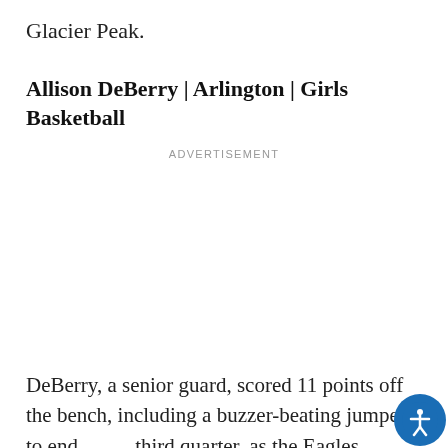Glacier Peak.
Allison DeBerry | Arlington | Girls Basketball
ADVERTISEMENT
DeBerry, a senior guard, scored 11 points off the bench, including a buzzer-beating jumper to end the third quarter, as the Eagles clinched a 3A state